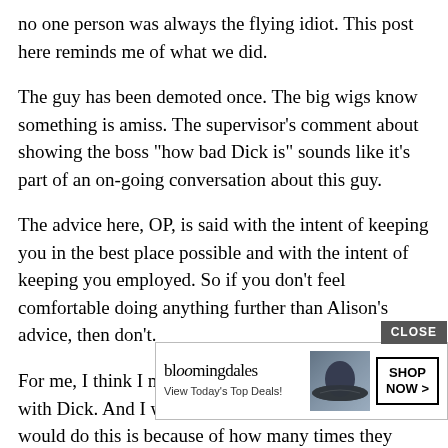no one person was always the flying idiot. This post here reminds me of what we did.
The guy has been demoted once. The big wigs know something is amiss. The supervisor’s comment about showing the boss “how bad Dick is” sounds like it’s part of an on-going conversation about this guy.
The advice here, OP, is said with the intent of keeping you in the best place possible and with the intent of keeping you employed. So if you don’t feel comfortable doing anything further than Alison’s advice, then don’t.
For me, I think I might tell the Boss that I can’t work with Dick. And I would tell him why. The reason I would do this is because of how many times they have asked you and they do not seem to take no for an answer. I w… s one, OP… match
[Figure (other): Bloomingdale's advertisement banner with logo, woman in hat photo, View Today's Top Deals text, Shop Now button, and Close button]